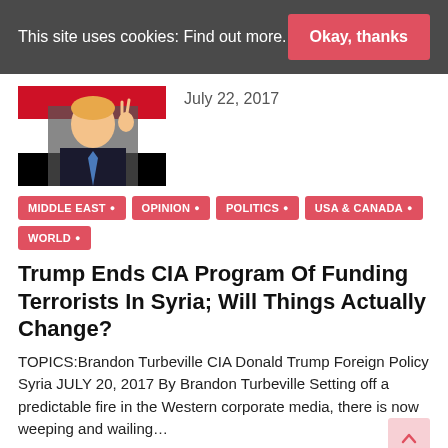This site uses cookies: Find out more.
Okay, thanks
[Figure (photo): Photo of Donald Trump making a peace sign in front of a Syrian flag]
July 22, 2017
MIDDLE EAST ●
OPINION ●
POLITICS ●
USA & CANADA ●
WORLD ●
Trump Ends CIA Program Of Funding Terrorists In Syria; Will Things Actually Change?
TOPICS:Brandon Turbeville CIA Donald Trump Foreign Policy Syria JULY 20, 2017 By Brandon Turbeville Setting off a predictable fire in the Western corporate media, there is now weeping and wailing…
Read more
[Figure (photo): Thumbnail image of a person with sunglasses next to an FBI seal]
July 13, 2017